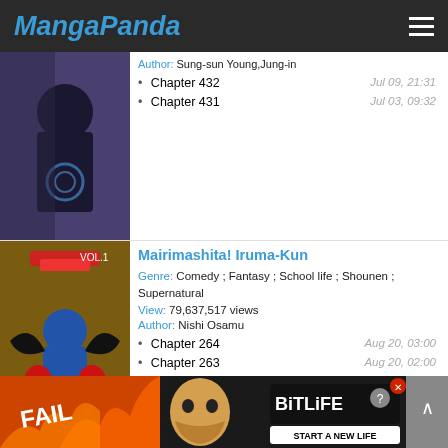MangaPanda
Author: Sung-sun Young,Jung-in
Chapter 432 — Jul 09, 21:31
Chapter 431 — Jul 03, 09:32
Mairimashita! Iruma-Kun
Genre: Comedy ; Fantasy ; School life ; Shounen ; Supernatural
View: 79,637,517 views
Author: Nishi Osamu
Chapter 264 — Aug 20, 03:00
Chapter 263 — Aug 20, 02:00
Magic Emperor
Genre: Action ; Adventure ; Fantasy ; Martial arts ; Supernatural
View: 79,394,353 views
[Figure (screenshot): BitLife advertisement banner at bottom of page]